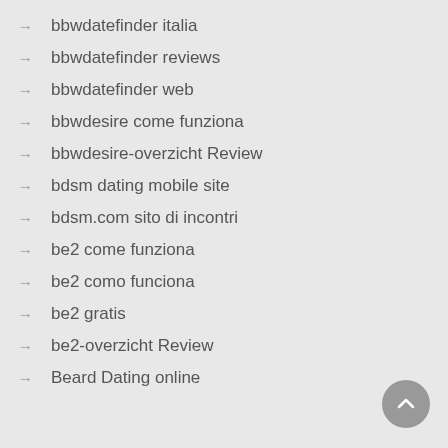→ bbwdatefinder italia
→ bbwdatefinder reviews
→ bbwdatefinder web
→ bbwdesire come funziona
→ bbwdesire-overzicht Review
→ bdsm dating mobile site
→ bdsm.com sito di incontri
→ be2 come funziona
→ be2 como funciona
→ be2 gratis
→ be2-overzicht Review
→ Beard Dating online